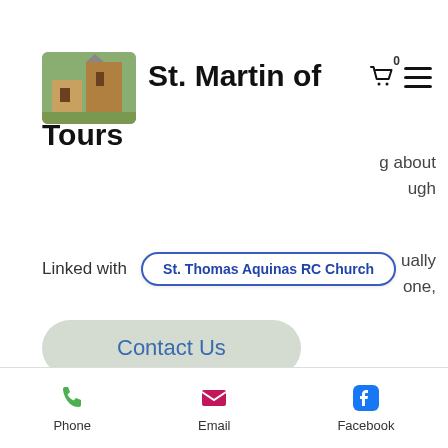[Figure (photo): Church building exterior photo thumbnail]
St. Martin of Tours
Linked with   St. Thomas Aquinas RC Church
Contact Us
info@stmartinbuffalo.com
(716) 823-7077
progesterone-like hormone called Leydig-H2 are produced inside your body and work together to regulate levels of the female sex hormones, estrogen and progesterone, muscle cutting steroids.
Phone   Email   Facebook